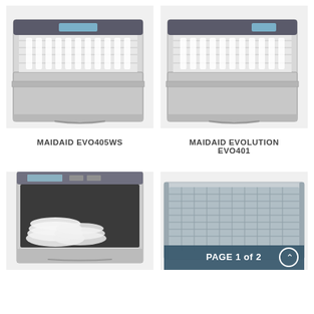[Figure (photo): MAIDAID EVO405WS undercounter glasswasher with front door open showing glass rack with glasses inside]
[Figure (photo): MAIDAID EVOLUTION EVO401 undercounter glasswasher with front door open showing glass rack with glasses inside]
MAIDAID EVO405WS
MAIDAID EVOLUTION EVO401
[Figure (photo): Close-up of undercounter dishwasher with door open showing white plates inside]
[Figure (photo): Undercounter dishwasher accessory tray/rack detail]
PAGE 1 of 2